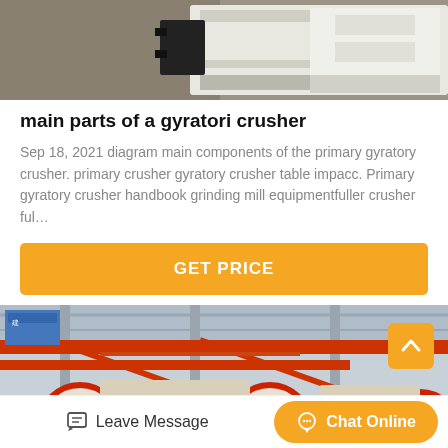[Figure (photo): Close-up photo of a white industrial crusher machine part on a concrete floor, with black metal components visible.]
main parts of a gyratori crusher
Sep 18, 2021 diagram main components of the primary gyratory crusher. primary crusher gyratory crusher table impacc. Primary gyratory crusher handbook grinding mill equipmentfuller crusher ful…
GET PRICE
[Figure (photo): Industrial factory interior with red overhead cranes, metal structural columns, and large circular machinery wheels/components on the floor.]
Leave Message
Chat Online